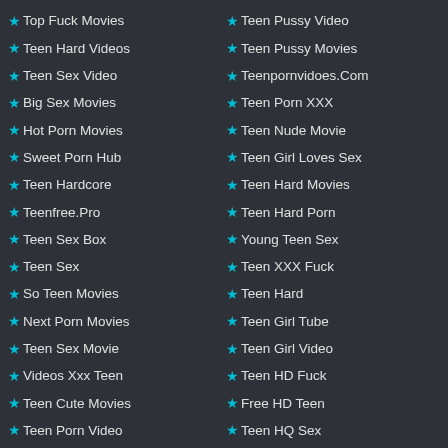★ Top Fuck Movies
★ Teen Hard Videos
★ Teen Sex Video
★ Big Sex Movies
★ Hot Porn Movies
★ Sweet Porn Hub
★ Teen Hardcore
★ Teenfree.Pro
★ Teen Sex Box
★ Teen Sex
★ So Teen Movies
★ Next Porn Movies
★ Teen Sex Movie
★ Videos Xxx Teen
★ Teen Cute Movies
★ Teen Porn Video
★ Teen Pussy Video
★ Teen Pussy Movies
★ Teenpornvidoes.Com
★ Teen Porn XXX
★ Teen Nude Movie
★ Teen Girl Loves Sex
★ Teen Hard Movies
★ Teen Hard Porn
★ Young Teen Sex
★ Teen XXX Fuck
★ Teen Hard
★ Teen Girl Tube
★ Teen Girl Video
★ Teen HD Fuck
★ Free HD Teen
★ Teen HQ Sex